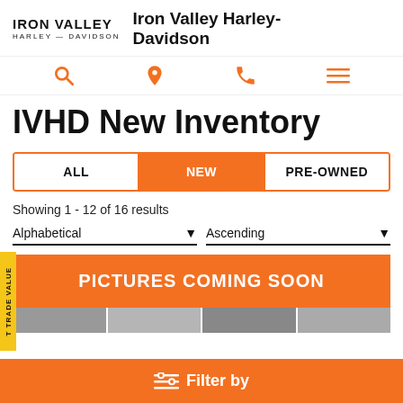[Figure (logo): Iron Valley Harley-Davidson logo with text]
Iron Valley Harley-Davidson
[Figure (infographic): Navigation icons: search, location pin, phone, hamburger menu]
IVHD New Inventory
ALL
NEW
PRE-OWNED
Showing 1 - 12 of 16 results
Alphabetical
Ascending
PICTURES COMING SOON
T TRADE VALUE
Filter by